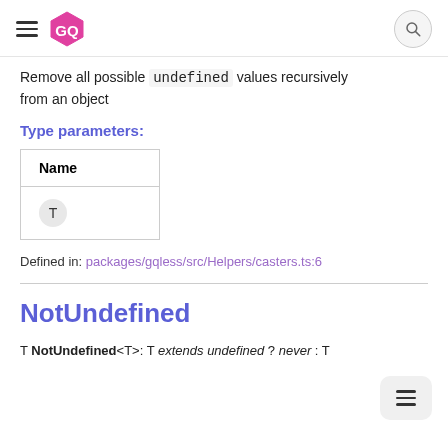GQ (logo) — navigation header with search
Remove all possible `undefined` values recursively from an object
Type parameters:
| Name |
| --- |
| T |
Defined in: packages/gqless/src/Helpers/casters.ts:6
NotUndefined
T NotUndefined<T>: T extends undefined ? never : T